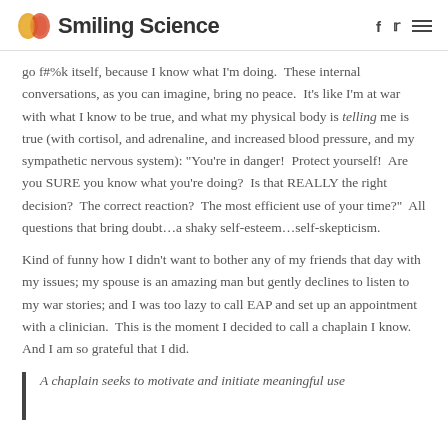Smiling Science
go f#%k itself, because I know what I'm doing.  These internal conversations, as you can imagine, bring no peace.  It's like I'm at war with what I know to be true, and what my physical body is telling me is true (with cortisol, and adrenaline, and increased blood pressure, and my sympathetic nervous system): "You're in danger!  Protect yourself!  Are you SURE you know what you're doing?  Is that REALLY the right decision?  The correct reaction?  The most efficient use of your time?"  All questions that bring doubt…a shaky self-esteem…self-skepticism.
Kind of funny how I didn't want to bother any of my friends that day with my issues; my spouse is an amazing man but gently declines to listen to my war stories; and I was too lazy to call EAP and set up an appointment with a clinician.  This is the moment I decided to call a chaplain I know.  And I am so grateful that I did.
A chaplain seeks to motivate and initiate meaningful use